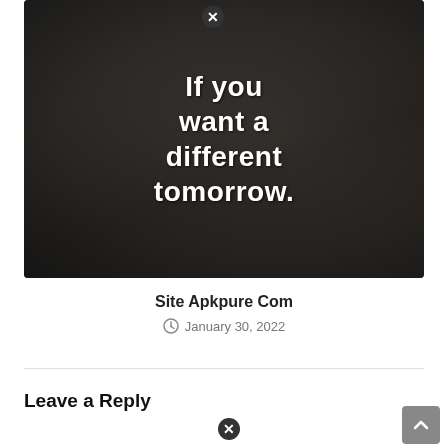[Figure (photo): Motivational image with a person from behind with arms raised, overlaid with white bold text reading 'If you want a different tomorrow.' with a close/X button overlay at top center.]
Site Apkpure Com
January 30, 2022
Leave a Reply